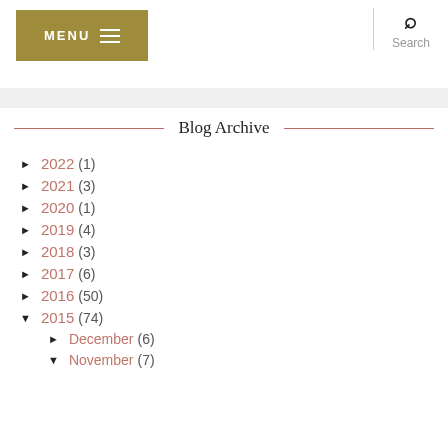MENU | Search
Blog Archive
► 2022 (1)
► 2021 (3)
► 2020 (1)
► 2019 (4)
► 2018 (3)
► 2017 (6)
► 2016 (50)
▼ 2015 (74)
► December (6)
▼ November (7)